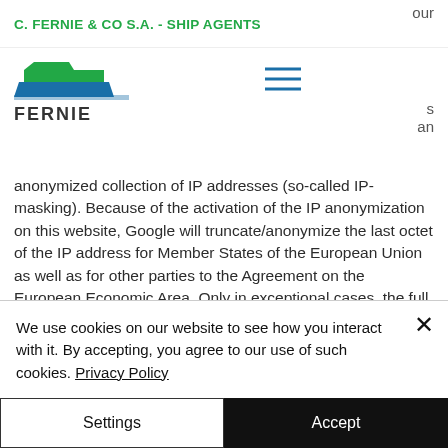C. FERNIE & CO S.A. - SHIP AGENTS
[Figure (logo): Fernie ship agent logo: stylized blue and green ship graphic above the word FERNIE]
anonymized collection of IP addresses (so-called IP-masking). Because of the activation of the IP anonymization on this website, Google will truncate/anonymize the last octet of the IP address for Member States of the European Union as well as for other parties to the Agreement on the European Economic Area. Only in exceptional cases, the full IP address is sent to and shortened by Google
We use cookies on our website to see how you interact with it. By accepting, you agree to our use of such cookies. Privacy Policy
Settings
Accept